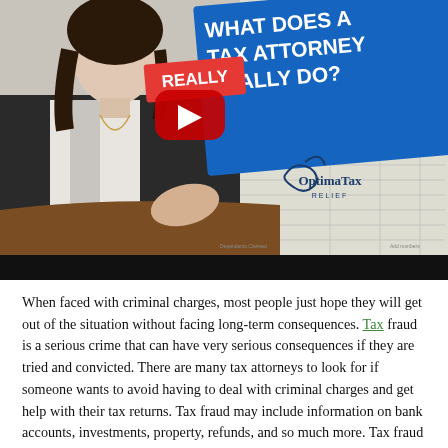[Figure (screenshot): YouTube video thumbnail showing a woman seated at a desk with a tax form background. Blue banner reads 'WHAT DOES A TAX ATTORNEY REALLY DO?' with a red YouTube play button. Optima Tax Relief logo in lower right. Black bar at bottom.]
When faced with criminal charges, most people just hope they will get out of the situation without facing long-term consequences. Tax fraud is a serious crime that can have very serious consequences if they are tried and convicted. There are many tax attorneys to look for if someone wants to avoid having to deal with criminal charges and get help with their tax returns. Tax fraud may include information on bank accounts, investments, property, refunds, and so much more. Tax fraud is